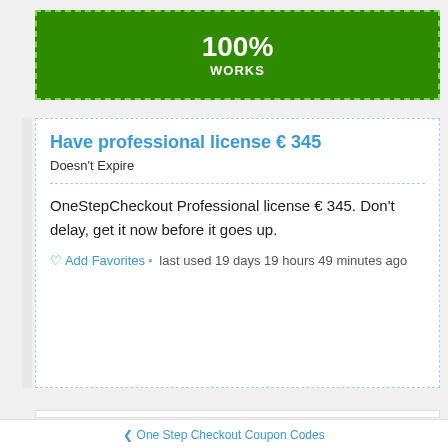[Figure (infographic): Green banner with dashed border showing '100% WORKS' text in white on dark green background]
Have professional license € 345
Doesn't Expire
OneStepCheckout Professional license € 345. Don't delay, get it now before it goes up.
♡ Add Favorites ▪ last used 19 days 19 hours 49 minutes ago
❮ One Step Checkout Coupon Codes